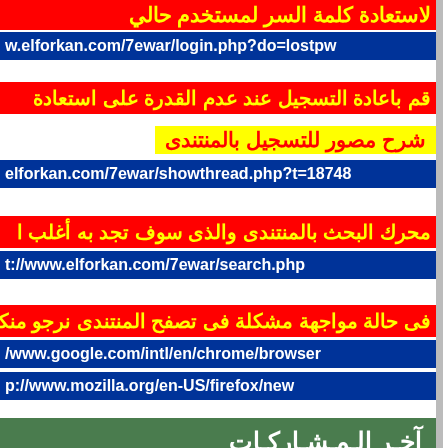لاستعادة كلمة السر لمستخدم حالي
w.elforkan.com/7ewar/login.php?do=lostpw
قم باعادة التسجيل عند عدم القدرة على استعادة
شرح مصور للتسجيل بالمنتندى
elforkan.com/7ewar/showthread.php?t=18748
محرك البحث بالمنتندى والذى سوف تجد به أغلب ا
t://www.elforkan.com/7ewar/search.php
فى حالة مواجهة مشكلة فى تصفح المنتندى نرجو منكم استخدام
/www.google.com/intl/en/chrome/browser
p://www.mozilla.org/en-US/firefox/new
آخـر الـمـشـاركـات
Do not grieve, indeed GOD is with us